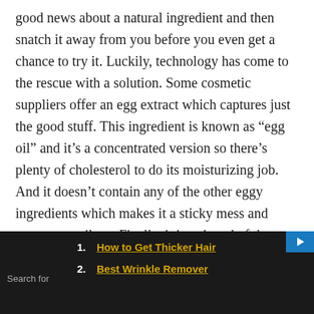good news about a natural ingredient and then snatch it away from you before you even get a chance to try it. Luckily, technology has come to the rescue with a solution. Some cosmetic suppliers offer an egg extract which captures just the good stuff. This ingredient is known as “egg oil” and it’s a concentrated version so there’s plenty of cholesterol to do its moisturizing job. And it doesn’t contain any of the other eggy ingredients which makes it a sticky mess and prone to spoilage. Finally, it is stripped of the proteins that can cause some people to have an allergic response.
The Beauty Brains bottom line
1. How to Get Thicker Hair
2. Best Wrinkle Remover